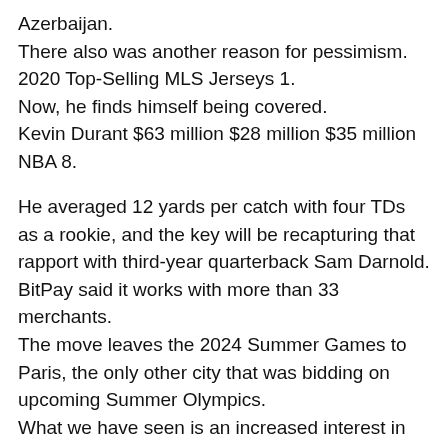Azerbaijan.
There also was another reason for pessimism.
2020 Top-Selling MLS Jerseys 1.
Now, he finds himself being covered.
Kevin Durant $63 million $28 million $35 million NBA 8.
He averaged 12 yards per catch with four TDs as a rookie, and the key will be recapturing that rapport with third-year quarterback Sam Darnold.
BitPay said it works with more than 33 merchants.
The move leaves the 2024 Summer Games to Paris, the only other city that was bidding on upcoming Summer Olympics.
What we have seen is an increased interest in hockey collectibles over the past few years.
Although several Big Ten coaches and